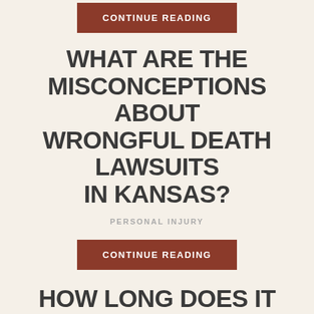CONTINUE READING
WHAT ARE THE MISCONCEPTIONS ABOUT WRONGFUL DEATH LAWSUITS IN KANSAS?
PERSONAL INJURY
CONTINUE READING
HOW LONG DOES IT TYPICALLY TAKE FOR A